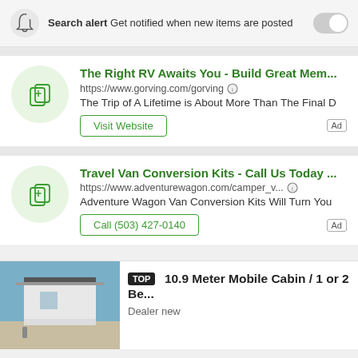Search alert: Get notified when new items are posted
[Figure (infographic): Ad card for gorving.com: The Right RV Awaits You - Build Great Mem... with Visit Website button]
[Figure (infographic): Ad card for adventurewagon.com: Travel Van Conversion Kits - Call Us Today ... with Call (503) 427-0140 button]
TOP 10.9 Meter Mobile Cabin / 1 or 2 Be... Dealer new